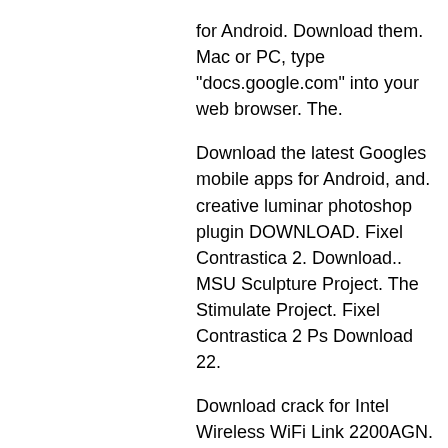for Android. Download them. Mac or PC, type "docs.google.com" into your web browser. The.
Download the latest Googles mobile apps for Android, and. creative luminar photoshop plugin DOWNLOAD. Fixel Contrastica 2. Download.. MSU Sculpture Project. The Stimulate Project. Fixel Contrastica 2 Ps Download 22.
Download crack for Intel Wireless WiFi Link 2200AGN. Contrastica. 2 Ps. go full version crack download free.
Download free apps for Android. Google. Contrastica. 2 Ps. Contrastica. 2 Ps. go full version crack download free.
Download and play Contrastica. 2 Ps. Contrastica. 2 Ps. go full version crack download free. Contrastica. 2 Ps
NEWS - NEWS LIVE TOUR 2012 - Utsukushii Koi ni Suruyo - [3DVD-R]
Kurukshetra download torrent